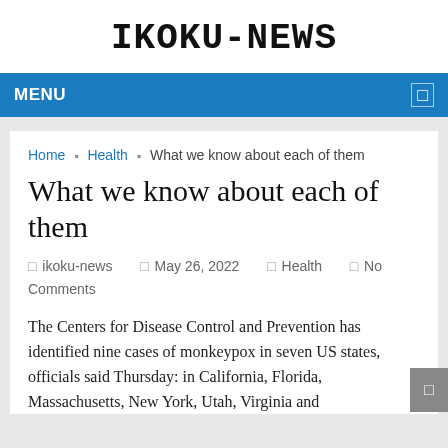IKOKU-NEWS
MENU
Home ▸ Health ▸ What we know about each of them
What we know about each of them
□ ikoku-news   □ May 26, 2022   □ Health   □ No Comments
The Centers for Disease Control and Prevention has identified nine cases of monkeypox in seven US states, officials said Thursday: in California, Florida, Massachusetts, New York, Utah, Virginia and